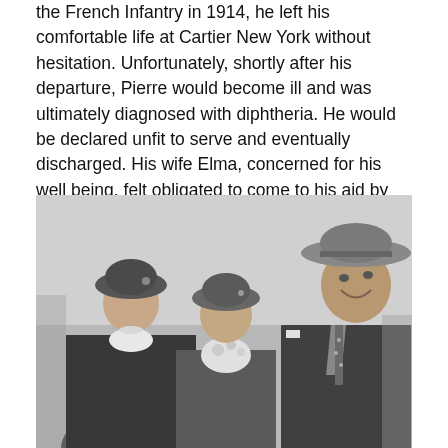the French Infantry in 1914, he left his comfortable life at Cartier New York without hesitation. Unfortunately, shortly after his departure, Pierre would become ill and was ultimately diagnosed with diphtheria. He would be declared unfit to serve and eventually discharged. His wife Elma, concerned for his well being, felt obligated to come to his aid by leaving the U.S. and volunteering at a nearby hospital adjacent to where he was recovering.
[Figure (photo): Black and white photograph of three people: a woman on the left wearing a cloche hat, a younger woman or girl in the center also wearing a cloche hat and holding flowers, and a man on the right wearing a wide-brimmed hat and smiling, dressed in a suit with a patterned tie.]